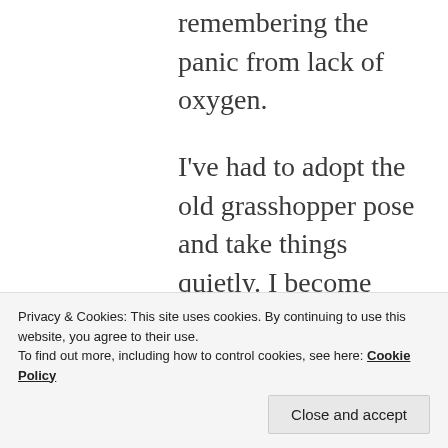remembering the panic from lack of oxygen.
I've had to adopt the old grasshopper pose and take things quietly. I become leaden and saturnian and phlegmatic, where my true nature is mercurial. So I wrestle with acceptance and in
Privacy & Cookies: This site uses cookies. By continuing to use this website, you agree to their use.
To find out more, including how to control cookies, see here: Cookie Policy